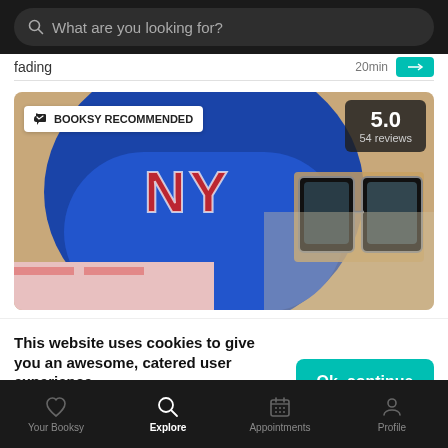What are you looking for?
fading 20min
[Figure (screenshot): Photo of person wearing blue New York Yankees cap and glasses with BOOKSY RECOMMENDED badge and 5.0 rating with 54 reviews overlay]
BOOKSY RECOMMENDED
5.0
54 reviews
This website uses cookies to give you an awesome, catered user experience.
Continuing on after seeing this message means that you're cool with that.
Ok, continue
Your Booksy  Explore  Appointments  Profile